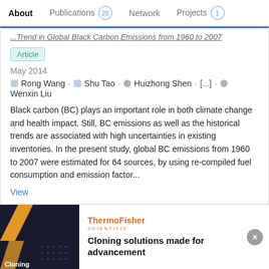About  Publications 28  Network  Projects 1
...Trend in Global Black Carbon Emissions from 1960 to 2007
Article
May 2014
Rong Wang · Shu Tao · Huizhong Shen · [...] · Wenxin Liu
Black carbon (BC) plays an important role in both climate change and health impact. Still, BC emissions as well as the historical trends are associated with high uncertainties in existing inventories. In the present study, global BC emissions from 1960 to 2007 were estimated for 64 sources, by using re-compiled fuel consumption and emission factor...
View
Advertisement
[Figure (screenshot): ThermoFisher Scientific advertisement banner with dark background image showing cloning theme and text 'Cloning solutions made for advancement']